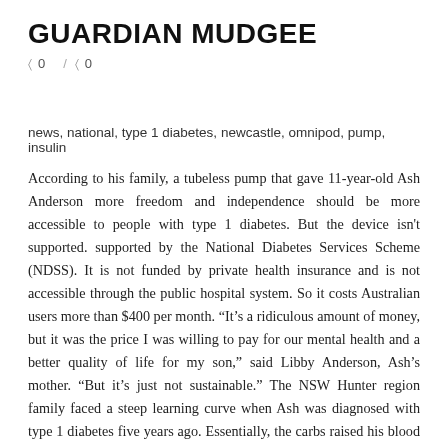GUARDIAN MUDGEE
0 / 0
news, national, type 1 diabetes, newcastle, omnipod, pump, insulin
According to his family, a tubeless pump that gave 11-year-old Ash Anderson more freedom and independence should be more accessible to people with type 1 diabetes. But the device isn't supported. supported by the National Diabetes Services Scheme (NDSS). It is not funded by private health insurance and is not accessible through the public hospital system. So it costs Australian users more than $400 per month. “It’s a ridiculous amount of money, but it was the price I was willing to pay for our mental health and a better quality of life for my son,” said Libby Anderson, Ash’s mother. “But it’s just not sustainable.” The NSW Hunter region family faced a steep learning curve when Ash was diagnosed with type 1 diabetes five years ago. Essentially, the carbs raised his blood sugar and the insulin lowered it – but it was a delicate balance. “If he stays high